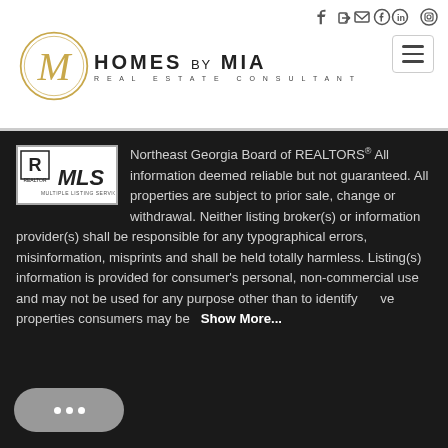[Figure (logo): Homes by Mia Real Estate Consultant logo with stylized M monogram in gold circle and social media icons]
Northeast Georgia Board of REALTORS® All information deemed reliable but not guaranteed. All properties are subject to prior sale, change or withdrawal. Neither listing broker(s) or information provider(s) shall be responsible for any typographical errors, misinformation, misprints and shall be held totally harmless. Listing(s) information is provided for consumer's personal, non-commercial use and may not be used for any purpose other than to identify prospective properties consumers may be Show More...